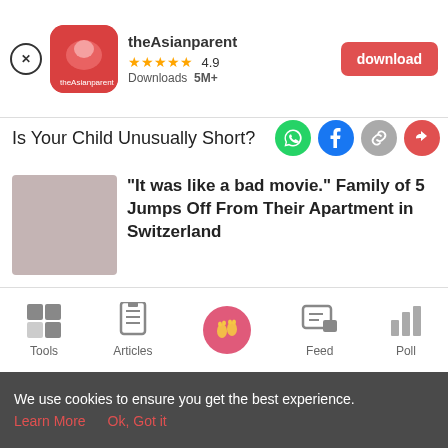[Figure (screenshot): App download banner for theAsianparent app showing close button, app icon, name, 4.9 star rating, 5M+ downloads, and red download button]
Is Your Child Unusually Short?
[Figure (screenshot): Social share icons: WhatsApp (green), Facebook (blue), link (gray), share (red)]
"It was like a bad movie." Family of 5 Jumps Off From Their Apartment in Switzerland
[Figure (illustration): Partial banner image showing gray fabric and geometric gem shapes in blue and red]
[Figure (screenshot): Bottom navigation bar with Tools, Articles, Home (pink circle with footprint icon), Feed, and Poll icons]
We use cookies to ensure you get the best experience.
Learn More   Ok, Got it